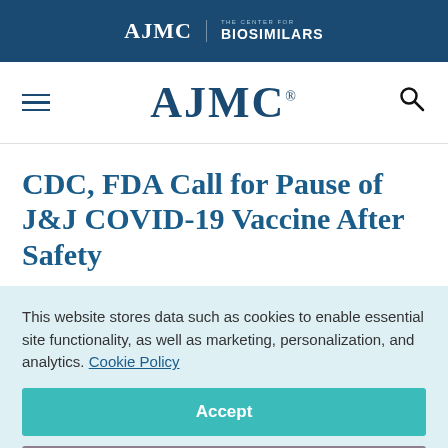AJMC | THE CENTER FOR BIOSIMILARS
AJMC
CDC, FDA Call for Pause of J&J COVID-19 Vaccine After Safety
This website stores data such as cookies to enable essential site functionality, as well as marketing, personalization, and analytics. Cookie Policy
Accept
Deny